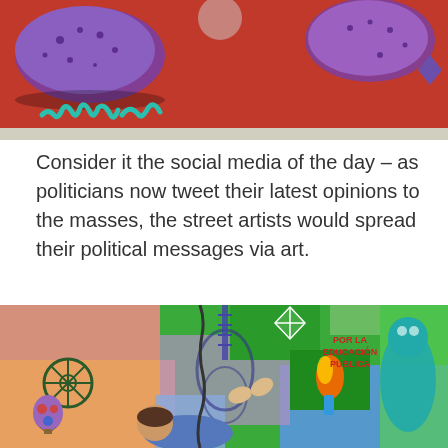[Figure (photo): Street art mural with colorful graffiti on a red wall, featuring purple shapes with polka dots and teal/green text graffiti lettering]
Consider it the social media of the day – as politicians now tweet their latest opinions to the masses, the street artists would spread their political messages via art.
[Figure (photo): Colorful street mural depicting a boy lying down, a teal monkey holding a torch with flame, a guitar outline, geometric shapes in green, pink, blue and orange, a hot air balloon, and text reading 'POR LA EDUCACION PUBLICA']